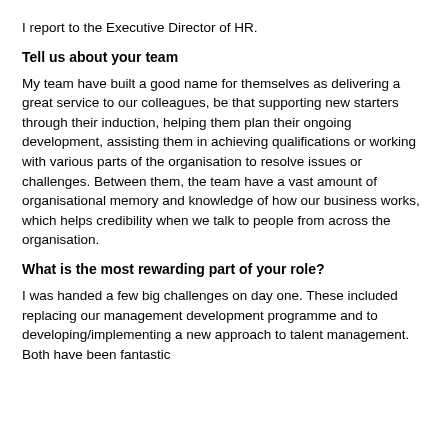I report to the Executive Director of HR.
Tell us about your team
My team have built a good name for themselves as delivering a great service to our colleagues, be that supporting new starters through their induction, helping them plan their ongoing development, assisting them in achieving qualifications or working with various parts of the organisation to resolve issues or challenges. Between them, the team have a vast amount of organisational memory and knowledge of how our business works, which helps credibility when we talk to people from across the organisation.
What is the most rewarding part of your role?
I was handed a few big challenges on day one. These included replacing our management development programme and to developing/implementing a new approach to talent management. Both have been fantastic